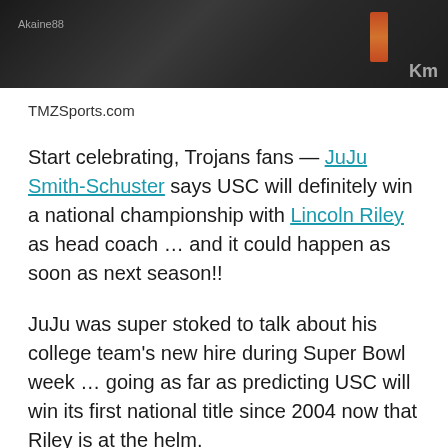[Figure (photo): Dark background photo of a person, partially visible, with text 'Akaine88' in lower left and partial 'Km' text in lower right corner. Orange/red accent color visible.]
TMZSports.com
Start celebrating, Trojans fans — JuJu Smith-Schuster says USC will definitely win a national championship with Lincoln Riley as head coach … and it could happen as soon as next season!!
JuJu was super stoked to talk about his college team's new hire during Super Bowl week … going as far as predicting USC will win its first national title since 2004 now that Riley is at the helm.
“Soon, man,” he tells TMZ Sports. “This year and whatever God has planned. I think we just gotta keep pushing. I think